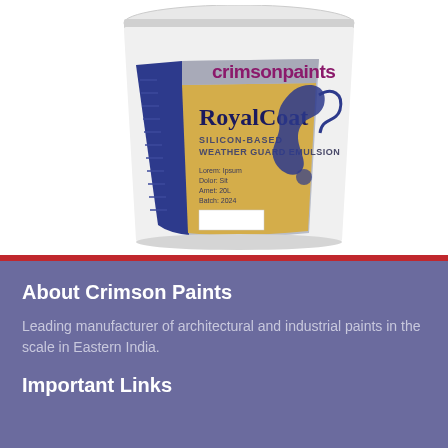[Figure (photo): A white cylindrical paint can with a label reading 'crimsonpaints RoyalCoat Silicon-Based Weather Guard Emulsion'. The label features blue, gold/yellow, and silver/grey colors with the brand name in purple/magenta text at the top.]
About Crimson Paints
Leading manufacturer of architectural and industrial paints in the scale in Eastern India.
Important Links